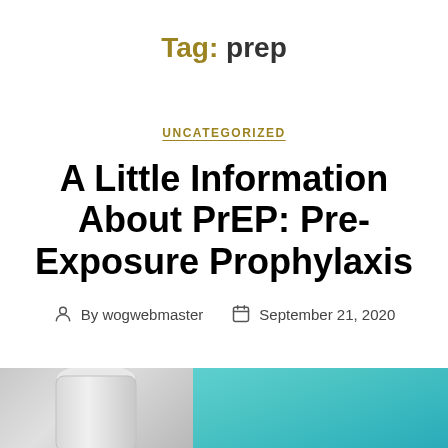Tag: prep
UNCATEGORIZED
A Little Information About PrEP: Pre-Exposure Prophylaxis
By wogwebmaster   September 21, 2020
[Figure (photo): Partial image of a white pill bottle cap on the left and a teal/turquoise background on the right, cropped at the bottom of the page]